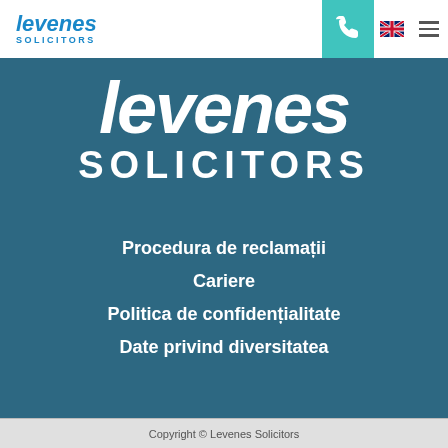[Figure (logo): Levenes Solicitors logo in header — blue italic 'levenes' with 'SOLICITORS' in smaller caps below]
[Figure (logo): Large white Levenes Solicitors logo on teal/blue background — italic 'levenes' large text with 'SOLICITORS' in caps below]
Procedura de reclamații
Cariere
Politica de confidențialitate
Date privind diversitatea
Copyright © Levenes Solicitors